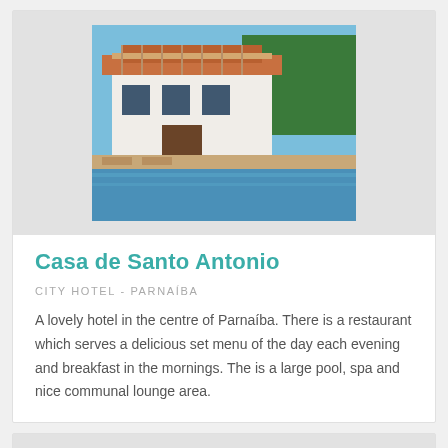[Figure (photo): Exterior photo of Casa de Santo Antonio hotel showing colonial-style building with balcony and swimming pool]
Casa de Santo Antonio
CITY HOTEL - PARNAÍBA
A lovely hotel in the centre of Parnaíba. There is a restaurant which serves a delicious set menu of the day each evening and breakfast in the mornings. The is a large pool, spa and nice communal lounge area.
[Figure (photo): Exterior photo of a tall modern hotel building]